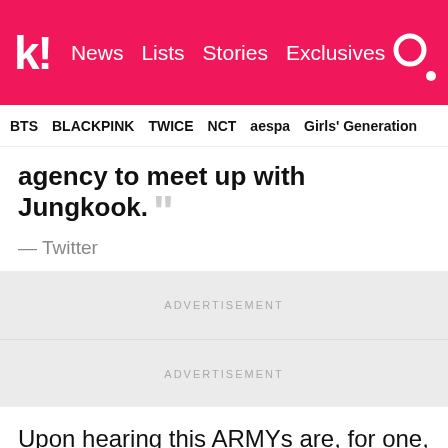k! News  Lists  Stories  Exclusives
BTS  BLACKPINK  TWICE  NCT  aespa  Girls' Generation
agency to meet up with Jungkook. ””
— Twitter
ADVERTISEMENT
ADVERTISEMENT
Upon hearing this ARMYs are, for one, deeply